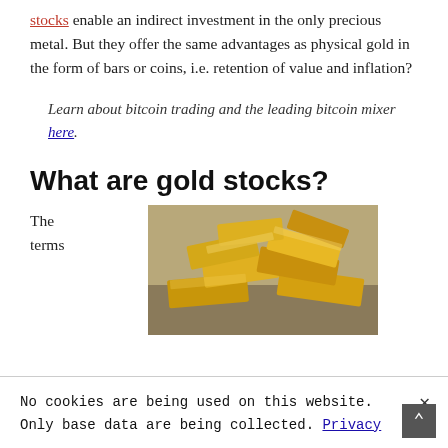stocks enable an indirect investment in the only precious metal. But they offer the same advantages as physical gold in the form of bars or coins, i.e. retention of value and inflation?
Learn about bitcoin trading and the leading bitcoin mixer here.
What are gold stocks?
The terms
[Figure (photo): A pile of gold bars stacked together, photorealistic render]
No cookies are being used on this website. Only base data are being collected. Privacy